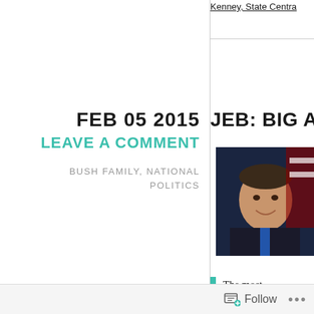Kenney, State Centra
FEB 05 2015
LEAVE A COMMENT
BUSH FAMILY, NATIONAL POLITICS
JEB: BIG ADVA
[Figure (photo): Photo of a man in a suit smiling with an American flag in the background]
The most not be tha for presid Rather, tw vote in b